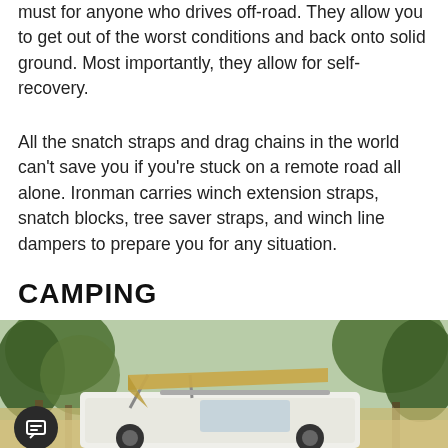must for anyone who drives off-road. They allow you to get out of the worst conditions and back onto solid ground. Most importantly, they allow for self-recovery.
All the snatch straps and drag chains in the world can't save you if you're stuck on a remote road all alone. Ironman carries winch extension straps, snatch blocks, tree saver straps, and winch line dampers to prepare you for any situation.
CAMPING
[Figure (photo): A white SUV with a tan/khaki folding awning extended from the roof rack, parked among tall pine trees in a forested outdoor setting. The vehicle is viewed from the side-rear, with the awning canopy extended outward and supported by poles.]